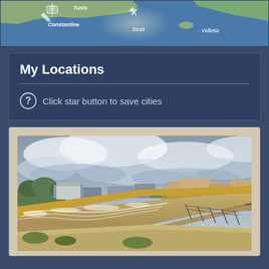[Figure (map): Partial map showing North Africa and Mediterranean region with labels for Tunis, Constantine, Strait, and Valletta]
My Locations
Click star button to save cities
[Figure (photo): Photograph of a flooded area with turbulent brown water in a channel or levee, buildings and vegetation visible in background, overcast sky]